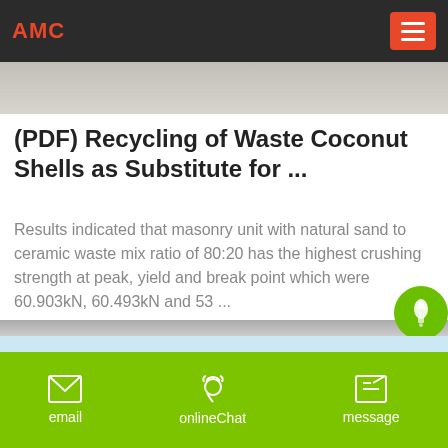AMC
(PDF) Recycling of Waste Coconut Shells as Substitute for ...
Results indicated that masonry unit with natural sand to ceramic waste mix ratio of 80:20 has the highest crushing strength at peak, yield and break point which were 60.903kN, 60.493kN and 53 ...
email  onlineChat  message